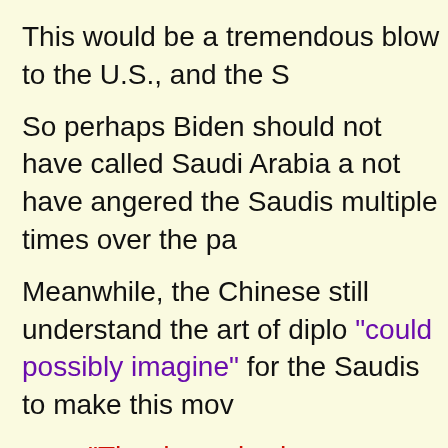This would be a tremendous blow to the U.S., and the S
So perhaps Biden should not have called Saudi Arabia a pariah, and should not have angered the Saudis multiple times over the pa
Meanwhile, the Chinese still understand the art of diplo… “could possibly imagine” for the Saudis to make this mov
“The dynamics have dramatically changed. The U. is the world’s biggest crude importer and they are said a Saudi official familiar with the talks.
“China has been offering everything you could pos
In retrospect, we now know the reason why MBS w
At one time, the Chinese may have been afraid to threa
As I discussed a few days ago, U.S. relations with Chin because of how strongly aligned China has become with
National Security Advisor Jake Sullivan made cle